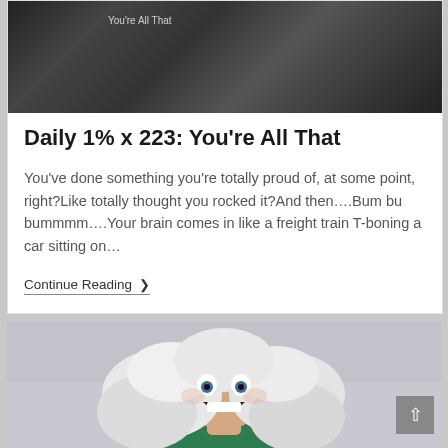[Figure (photo): Black and white close-up photo with fur-like texture and faint overlay text reading 'You're All That']
Daily 1% x 223: You're All That
You've done something you're totally proud of, at some point, right?Like totally thought you rocked it?And then….Bum bu bummmm….Your brain comes in like a freight train T-boning a car sitting on…
Continue Reading ❯
[Figure (photo): Photo of a woman with wild silver/white hair, wide eyes and open mouth expression of excitement, wearing a green top, on a light grey background]